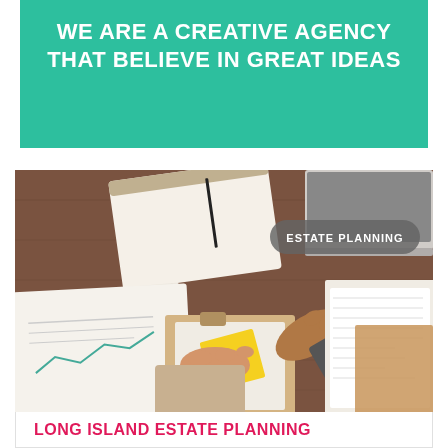WE ARE A CREATIVE AGENCY THAT BELIEVE IN GREAT IDEAS
[Figure (photo): Overhead view of businesspeople at a wooden desk shaking hands, with documents, clipboards, papers, and a laptop visible. An 'ESTATE PLANNING' label badge is overlaid in the upper right of the image.]
LONG ISLAND ESTATE PLANNING